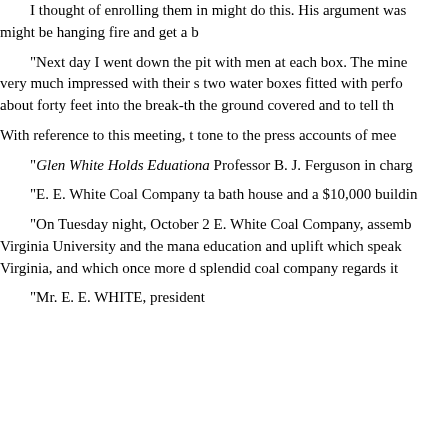I thought of enrolling them in might do this. His argument was might be hanging fire and get a b
"Next day I went down the pit with men at each box. The mine very much impressed with their s two water boxes fitted with perc about forty feet into the break-th the ground covered and to tell th
With reference to this meeting, t tone to the press accounts of me
"Glen White Holds Eduationa Professor B. J. Ferguson in char
"E. E. White Coal Company ta bath house and a $10,000 buildin
"On Tuesday night, October 2 E. White Coal Company, assemb Virginia University and the mana education and uplift which speak Virginia, and which once more d splendid coal company regards it
"Mr. E. E. WHITE, president